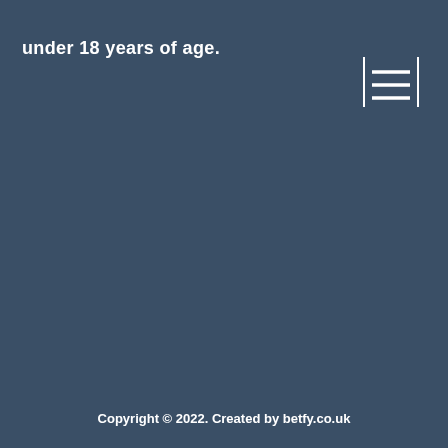under 18 years of age.
[Figure (other): Hamburger menu icon with two vertical border lines flanking three horizontal lines]
Copyright © 2022. Created by betfy.co.uk